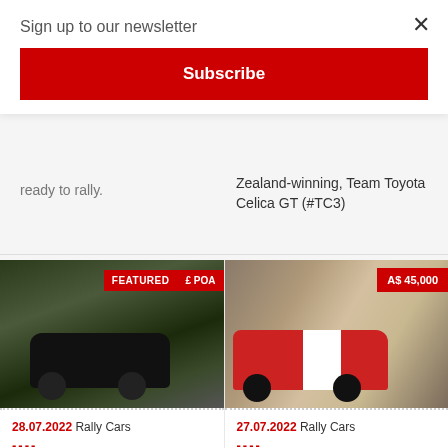Sign up to our newsletter
Subscribe
ready to rally.
Zealand-winning, Team Toyota Celica GT (#TC3)
[Figure (photo): Black Mini Cooper S on gravel road in forest, with FEATURED and £ POA badge overlay]
28.07.2022 Rally Cars
----
1965 Morris Mini Cooper S MK1
[Figure (photo): Red and white Ford Escort Mk2 rally car with dust cloud, A$ 45,000 badge overlay]
27.07.2022 Rally Cars
----
Ford Escort Mk2 Rally Car Ford Escort Mk2 gravel